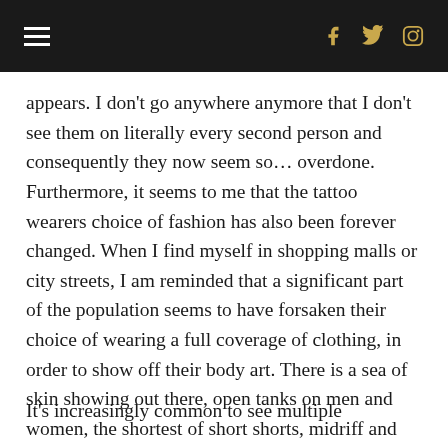≡  f  🐦  📷
appears. I don't go anywhere anymore that I don't see them on literally every second person and consequently they now seem so… overdone. Furthermore, it seems to me that the tattoo wearers choice of fashion has also been forever changed. When I find myself in shopping malls or city streets, I am reminded that a significant part of the population seems to have forsaken their choice of wearing a full coverage of clothing, in order to show off their body art. There is a sea of skin showing out there, open tanks on men and women, the shortest of short shorts, midriff and crop tops, low slung trousers, and super short minis.
It's increasingly common to see multiple